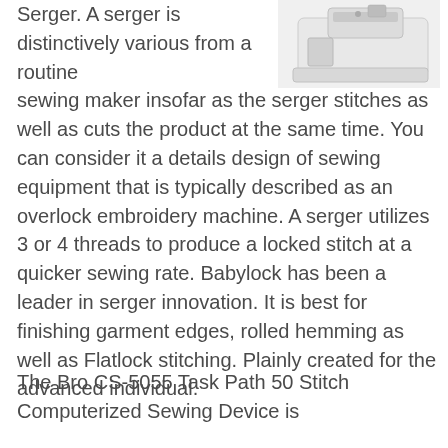[Figure (photo): A white serger/overlock sewing machine shown from a slightly elevated angle against a light background]
Serger. A serger is distinctively various from a routine sewing maker insofar as the serger stitches as well as cuts the product at the same time. You can consider it a details design of sewing equipment that is typically described as an overlock embroidery machine. A serger utilizes 3 or 4 threads to produce a locked stitch at a quicker sewing rate. Babylock has been a leader in serger innovation. It is best for finishing garment edges, rolled hemming as well as Flatlock stitching. Plainly created for the advanced individual.
The Bro CS-5055 Task Path 50 Stitch Computerized Sewing Device is